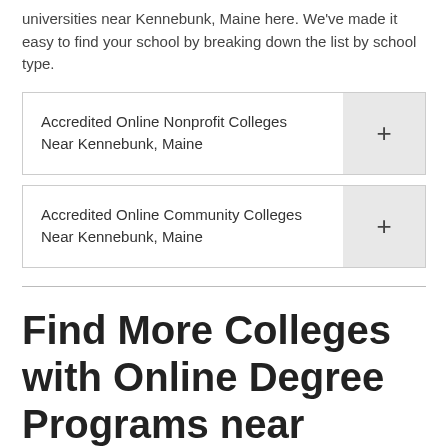universities near Kennebunk, Maine here. We've made it easy to find your school by breaking down the list by school type.
Accredited Online Nonprofit Colleges Near Kennebunk, Maine
Accredited Online Community Colleges Near Kennebunk, Maine
Find More Colleges with Online Degree Programs near Kennebunk, Maine